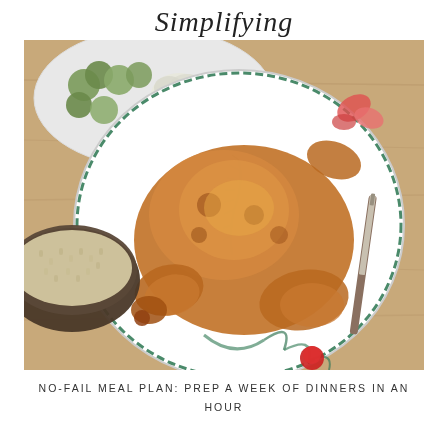Simplifying
[Figure (photo): Overhead view of a whole roasted chicken on a floral-patterned plate, with a bowl of rice on the left, a plate of roasted brussels sprouts and cauliflower in the upper left, and a knife visible on the right, all on a wooden table surface.]
NO-FAIL MEAL PLAN: PREP A WEEK OF DINNERS IN AN HOUR